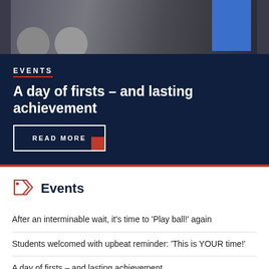[Figure (photo): Two people shaking hands in front of a blue display screen]
EVENTS
A day of firsts – and lasting achievement
READ MORE
Events
After an interminable wait, it's time to 'Play ball!' again
Students welcomed with upbeat reminder: 'This is YOUR time!'
A day of firsts – and lasting achievement
Venturesome students find inspiration during PFEW